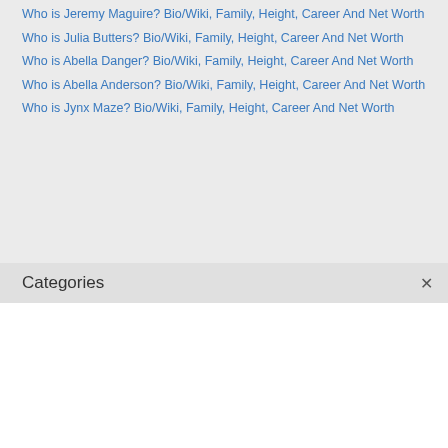Who is Jeremy Maguire? Bio/Wiki, Family, Height, Career And Net Worth
Who is Julia Butters? Bio/Wiki, Family, Height, Career And Net Worth
Who is Abella Danger? Bio/Wiki, Family, Height, Career And Net Worth
Who is Abella Anderson? Bio/Wiki, Family, Height, Career And Net Worth
Who is Jynx Maze? Bio/Wiki, Family, Height, Career And Net Worth
Categories